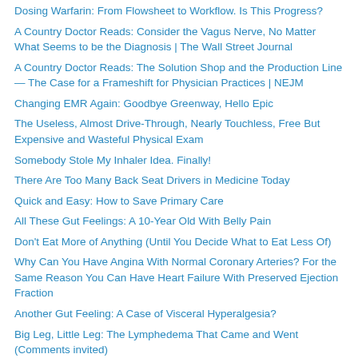Dosing Warfarin: From Flowsheet to Workflow. Is This Progress?
A Country Doctor Reads: Consider the Vagus Nerve, No Matter What Seems to be the Diagnosis | The Wall Street Journal
A Country Doctor Reads: The Solution Shop and the Production Line — The Case for a Frameshift for Physician Practices | NEJM
Changing EMR Again: Goodbye Greenway, Hello Epic
The Useless, Almost Drive-Through, Nearly Touchless, Free But Expensive and Wasteful Physical Exam
Somebody Stole My Inhaler Idea. Finally!
There Are Too Many Back Seat Drivers in Medicine Today
Quick and Easy: How to Save Primary Care
All These Gut Feelings: A 10-Year Old With Belly Pain
Don't Eat More of Anything (Until You Decide What to Eat Less Of)
Why Can You Have Angina With Normal Coronary Arteries? For the Same Reason You Can Have Heart Failure With Preserved Ejection Fraction
Another Gut Feeling: A Case of Visceral Hyperalgesia?
Big Leg, Little Leg: The Lymphedema That Came and Went (Comments invited)
Health Care Through the Back Door: The Dangers of Nurse Visits